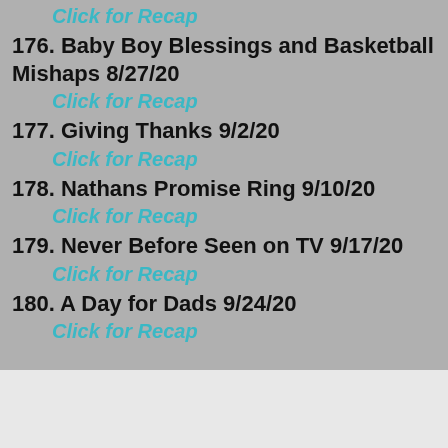Click for Recap
176. Baby Boy Blessings and Basketball Mishaps 8/27/20
Click for Recap
177. Giving Thanks 9/2/20
Click for Recap
178. Nathans Promise Ring 9/10/20
Click for Recap
179. Never Before Seen on TV 9/17/20
Click for Recap
180. A Day for Dads 9/24/20
Click for Recap